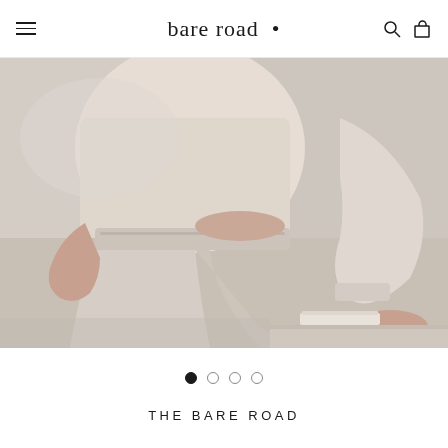bare road •
[Figure (photo): Person seated wearing matching beige/cream loungewear top and pants, cropped view showing torso and legs, sitting on a white surface with a book nearby, neutral grey background.]
• ○ ○ ○ (carousel indicators, first dot active)
THE BARE ROAD